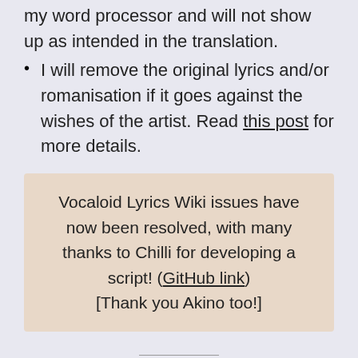I will remove the original lyrics and/or romanisation if it goes against the wishes of the artist. Read this post for more details.
Vocaloid Lyrics Wiki issues have now been resolved, with many thanks to Chilli for developing a script! (GitHub link) [Thank you Akino too!]
2022 request period 1: 17 April – 23 April